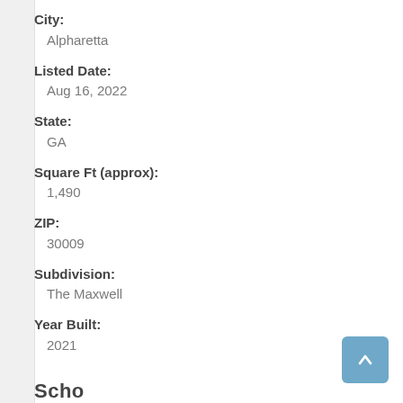City:
  Alpharetta
Listed Date:
  Aug 16, 2022
State:
  GA
Square Ft (approx):
  1,490
ZIP:
  30009
Subdivision:
  The Maxwell
Year Built:
  2021